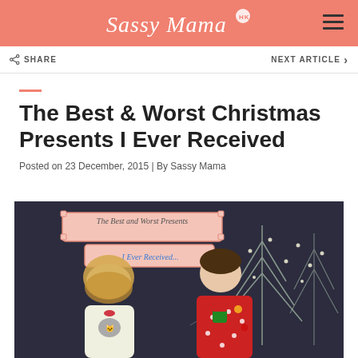Sassy Mama
SHARE   NEXT ARTICLE >
The Best & Worst Christmas Presents I Ever Received
Posted on 23 December, 2015 | By Sassy Mama
[Figure (photo): A man and woman wearing ugly Christmas sweaters in front of a chalkboard with Christmas tree drawings and string lights. A sign reads 'The Best and Worst Presents I Ever Received...']